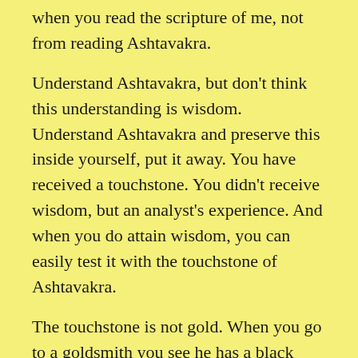when you read the scripture of me, not from reading Ashtavakra.
Understand Ashtavakra, but don't think this understanding is wisdom. Understand Ashtavakra and preserve this inside yourself, put it away. You have received a touchstone. You didn't receive wisdom, but an analyst's experience. And when you do attain wisdom, you can easily test it with the touchstone of Ashtavakra.
The touchstone is not gold. When you go to a goldsmith you see he has a black testing stone. This black stone is not gold. When he receives gold, the goldsmith rubs it on this black stone to find out if it is gold or not.